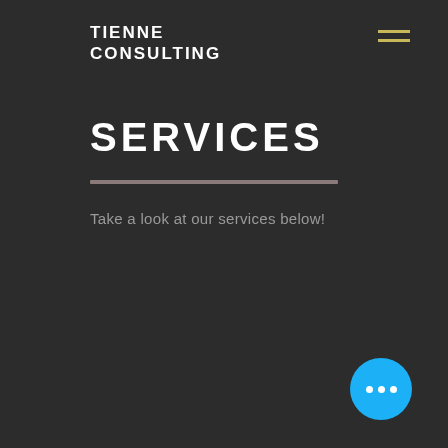TIENNE CONSULTING
SERVICES
Take a look at our services below!
[Figure (other): Blue circular chat/more-options button with three white dots in the bottom-right corner]